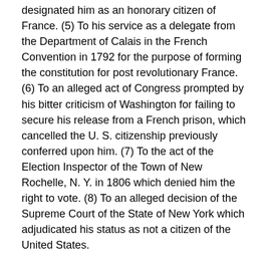designated him as an honorary citizen of France. (5) To his service as a delegate from the Department of Calais in the French Convention in 1792 for the purpose of forming the constitution for post revolutionary France. (6) To an alleged act of Congress prompted by his bitter criticism of Washington for failing to secure his release from a French prison, which cancelled the U. S. citizenship previously conferred upon him. (7) To the act of the Election Inspector of the Town of New Rochelle, N. Y. in 1806 which denied him the right to vote. (8) To an alleged decision of the Supreme Court of the State of New York which adjudicated his status as not a citizen of the United States.
Law
Taking the assorted claims in the order of enumeration, we find:
Paine's birth and public service in England prior to 1774 in no respect affects his later acquired status